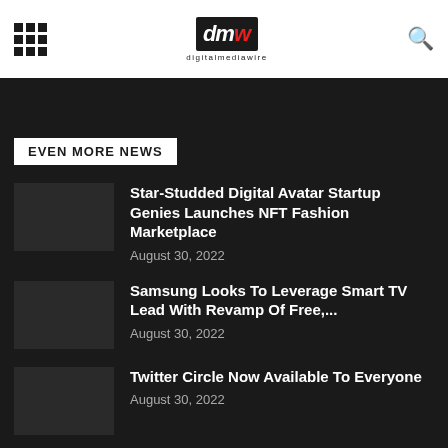digitalmediawire
EVEN MORE NEWS
Star-Studded Digital Avatar Startup Genies Launches NFT Fashion Marketplace
August 30, 2022
Samsung Looks To Leverage Smart TV Lead With Revamp Of Free,...
August 30, 2022
Twitter Circle Now Available To Everyone
August 30, 2022